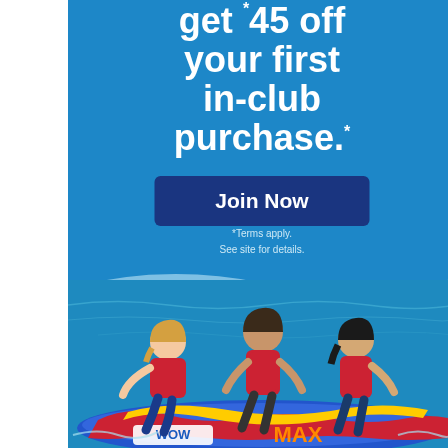[Figure (illustration): Advertisement banner with blue background. Top section shows text 'get $45 off your first in-club purchase.*' with a dark blue 'Join Now' button and fine print '*Terms apply. See site for details.' Below is a wave/water scene with three people riding a WOW MAX inflatable tube on water.]